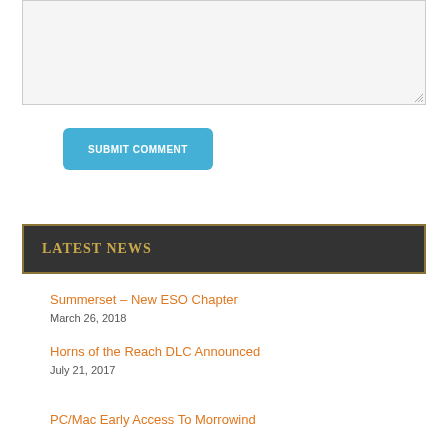[Figure (screenshot): A textarea input box with light gray background and resize handle in bottom-right corner]
SUBMIT COMMENT
LATEST NEWS
Summerset – New ESO Chapter
March 26, 2018
Horns of the Reach DLC Announced
July 21, 2017
PC/Mac Early Access To Morrowind